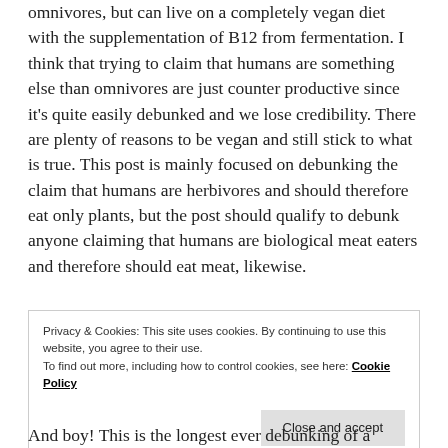omnivores, but can live on a completely vegan diet with the supplementation of B12 from fermentation. I think that trying to claim that humans are something else than omnivores are just counter productive since it's quite easily debunked and we lose credibility. There are plenty of reasons to be vegan and still stick to what is true. This post is mainly focused on debunking the claim that humans are herbivores and should therefore eat only plants, but the post should qualify to debunk anyone claiming that humans are biological meat eaters and therefore should eat meat, likewise.
Privacy & Cookies: This site uses cookies. By continuing to use this website, you agree to their use. To find out more, including how to control cookies, see here: Cookie Policy
And boy! This is the longest ever debunking of a